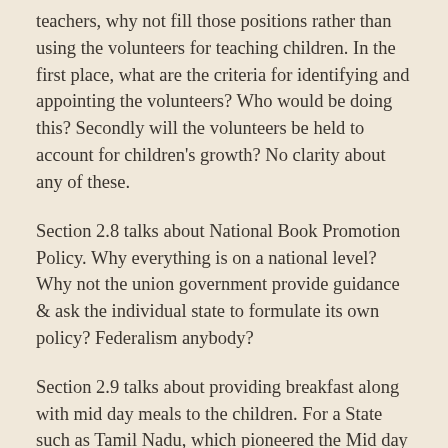teachers, why not fill those positions rather than using the volunteers for teaching children. In the first place, what are the criteria for identifying and appointing the volunteers? Who would be doing this? Secondly will the volunteers be held to account for children's growth? No clarity about any of these.
Section 2.8 talks about National Book Promotion Policy. Why everything is on a national level? Why not the union government provide guidance & ask the individual state to formulate its own policy? Federalism anybody?
Section 2.9 talks about providing breakfast along with mid day meals to the children. For a State such as Tamil Nadu, which pioneered the Mid day meals scheme way back in 1920, initiated the breakfast